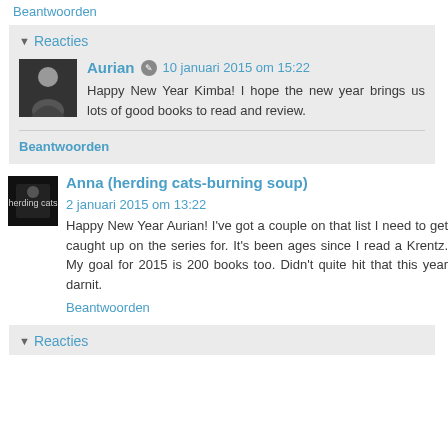Beantwoorden
▾ Reacties
Aurian  10 januari 2015 om 15:22
Happy New Year Kimba! I hope the new year brings us lots of good books to read and review.
Beantwoorden
Anna (herding cats-burning soup)  2 januari 2015 om 13:22
Happy New Year Aurian! I've got a couple on that list I need to get caught up on the series for. It's been ages since I read a Krentz. My goal for 2015 is 200 books too. Didn't quite hit that this year darnit.
Beantwoorden
▾ Reacties